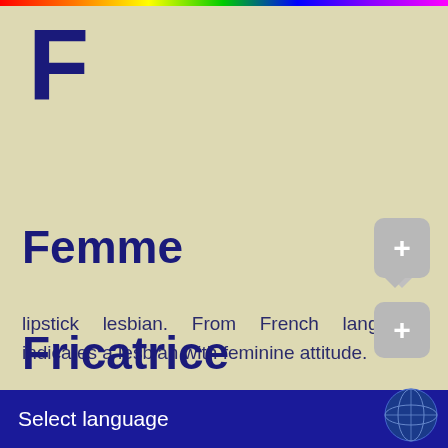F
Femme
lipstick lesbian. From French language, indicates a lesbian with feminine attitude.
Fricatrice
Select language